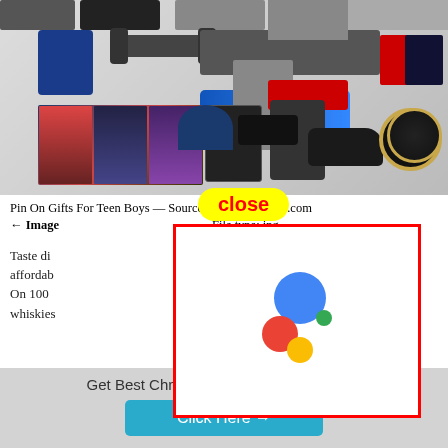[Figure (photo): Collage of gift items for teen boys including sports equipment, movies, toys, accessories, watches, sneakers, books]
Pin On Gifts For Teen Boys — Source: i1171: pinterest.com
← Image [blocked] — File type: jpg
Taste di[fferent whiskies from around the world in a fun and] affordab[le way. Choose from over 20 award-winning scotch,] Over 35 On 100[0+ ratings. This set contains 12 different] erent whiskies[, each from a different distillery, to experience] original
[Figure (logo): Google Assistant logo — blue circle, red circle, green dot, yellow dot]
close
Get Best Christmas Items, up to 70% Off!
Click Here →